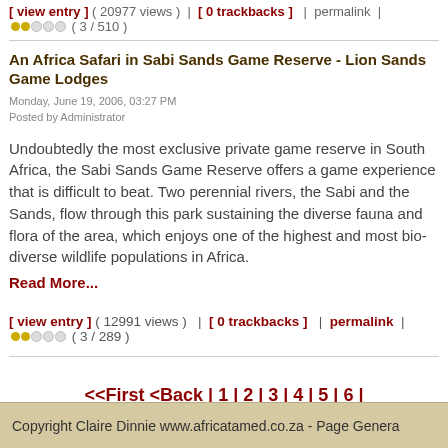[ view entry ] ( 20977 views )  |  [ 0 trackbacks ]  |  permalink  |  ●●○○○ ( 3 / 510 )
An Africa Safari in Sabi Sands Game Reserve - Lion Sands Game Lodges
Monday, June 19, 2006, 03:27 PM
Posted by Administrator
Undoubtedly the most exclusive private game reserve in South Africa, the Sabi Sands Game Reserve offers a game experience that is difficult to beat. Two perennial rivers, the Sabi and the Sands, flow through this park sustaining the diverse fauna and flora of the area, which enjoys one of the highest and most bio-diverse wildlife populations in Africa.
Read More...
[ view entry ] ( 12991 views )   |   [ 0 trackbacks ]   |   permalink  |  ●●○○○ ( 3 / 289 )
<<First <Back | 1 | 2 | 3 | 4 | 5 | 6 |
Copyright Claire Dinnie www.africatamed.co.za - Page Genera